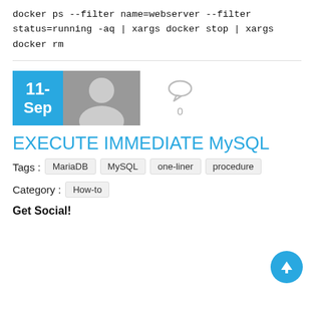docker ps --filter name=webserver --filter status=running -aq | xargs docker stop | xargs docker rm
EXECUTE IMMEDIATE MySQL
Tags: MariaDB MySQL one-liner procedure
Category: How-to
Get Social!